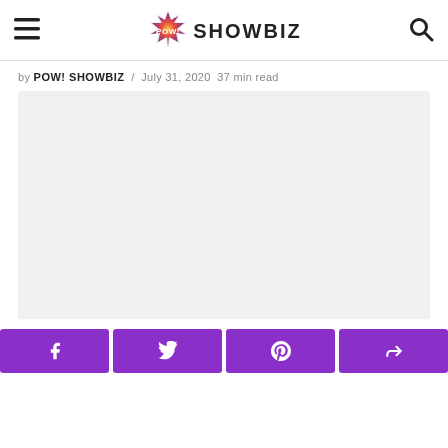POW! SHOWBIZ
by POW! SHOWBIZ / July 31, 2020  37 min read
[Figure (photo): Article featured image placeholder (light gray rectangle)]
[Figure (infographic): Social share buttons bar: Facebook, Twitter, Pinterest, and one more, all in purple]